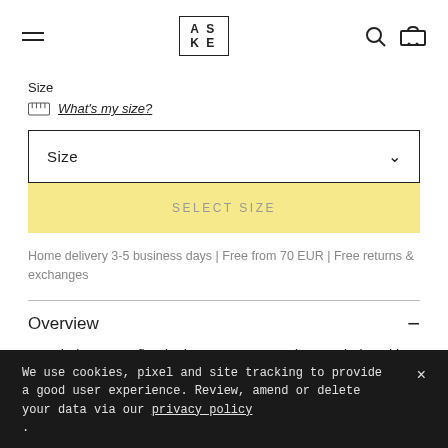ASKET (logo) with hamburger, search, and cart icons
Size
What's my size?
Size (dropdown selector)
SELECT SIZE
Home delivery 3-5 business days | Free from 70 EUR | Free returns & exchanges
Overview
Nonchalant yet refined, elevate your everyday wardrobe with
We use cookies, pixel and site tracking to provide a good user experience. Review, amend or delete your data via our privacy policy .